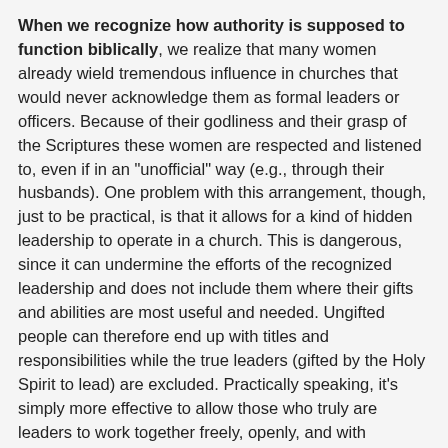When we recognize how authority is supposed to function biblically, we realize that many women already wield tremendous influence in churches that would never acknowledge them as formal leaders or officers. Because of their godliness and their grasp of the Scriptures these women are respected and listened to, even if in an "unofficial" way (e.g., through their husbands). One problem with this arrangement, though, just to be practical, is that it allows for a kind of hidden leadership to operate in a church. This is dangerous, since it can undermine the efforts of the recognized leadership and does not include them where their gifts and abilities are most useful and needed. Ungifted people can therefore end up with titles and responsibilities while the true leaders (gifted by the Holy Spirit to lead) are excluded. Practically speaking, it's simply more effective to allow those who truly are leaders to work together freely, openly, and with accountability. To do less fails to give God our best.
What's more, if we were to ask which of the two sexes historically has been most identified with the kind of meek and humble servant that Jesus said is the mark of...